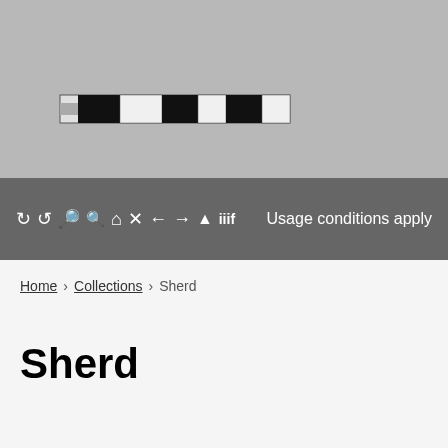[Figure (photo): A grayscale image showing an artifact (sherd) with a scale bar at the bottom area. The background is gray.]
[Figure (screenshot): A dark gray toolbar with viewer control icons (rotate, zoom, home, fullscreen, arrows, download, IIIF) on the left and 'Usage conditions apply' text on the right, shown in white on a dark gray background.]
Home > Collections > Sherd
Sherd